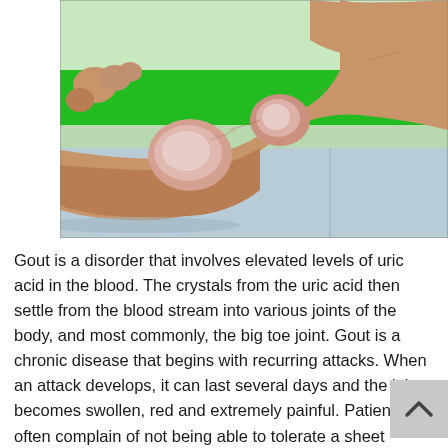[Figure (photo): Close-up photograph of a human foot and ankle with visible gout tophi (large white/pink lumps) on the side of the foot and ankle joint, resting on a blue surface. Background shows a green wall.]
Gout is a disorder that involves elevated levels of uric acid in the blood. The crystals from the uric acid then settle from the blood stream into various joints of the body, and most commonly, the big toe joint. Gout is a chronic disease that begins with recurring attacks. When an attack develops, it can last several days and the joint becomes swollen, red and extremely painful. Patients often complain of not being able to tolerate a sheet resting on their big toes or other